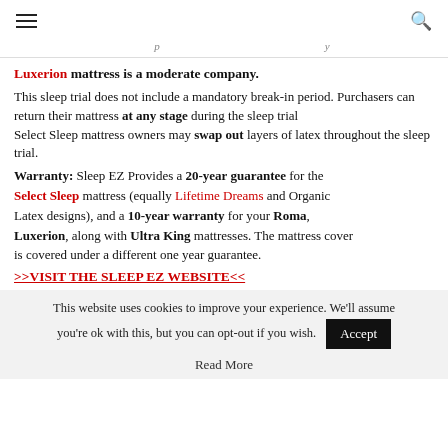[hamburger menu] [search icon]
... p y
Luxerion mattress is a moderate company.
This sleep trial does not include a mandatory break-in period. Purchasers can return their mattress at any stage during the sleep trial
Select Sleep mattress owners may swap out layers of latex throughout the sleep trial.
Warranty: Sleep EZ Provides a 20-year guarantee for the Select Sleep mattress (equally Lifetime Dreams and Organic Latex designs), and a 10-year warranty for your Roma, Luxerion, along with Ultra King mattresses. The mattress cover is covered under a different one year guarantee.
>>VISIT THE SLEEP EZ WEBSITE<<
This website uses cookies to improve your experience. We'll assume you're ok with this, but you can opt-out if you wish.
Read More